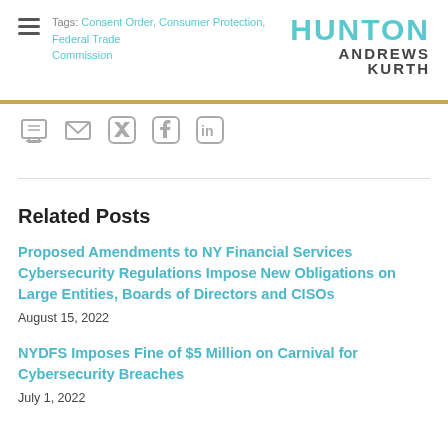Tags: Consent Order, Consumer Protection, Federal Trade Commission | HUNTON ANDREWS KURTH
[Figure (logo): Hunton Andrews Kurth law firm logo with teal HUNTON text and dark ANDREWS KURTH subtext]
[Figure (other): Social sharing icons: print, email, Twitter, Facebook, LinkedIn]
Related Posts
Proposed Amendments to NY Financial Services Cybersecurity Regulations Impose New Obligations on Large Entities, Boards of Directors and CISOs
August 15, 2022
NYDFS Imposes Fine of $5 Million on Carnival for Cybersecurity Breaches
July 1, 2022